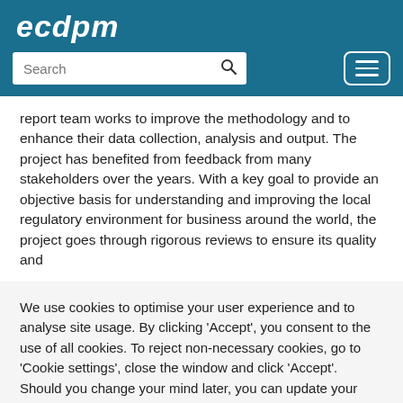ecdpm
report team works to improve the methodology and to enhance their data collection, analysis and output. The project has benefited from feedback from many stakeholders over the years. With a key goal to provide an objective basis for understanding and improving the local regulatory environment for business around the world, the project goes through rigorous reviews to ensure its quality and
We use cookies to optimise your user experience and to analyse site usage. By clicking 'Accept', you consent to the use of all cookies. To reject non-necessary cookies, go to 'Cookie settings', close the window and click 'Accept'. Should you change your mind later, you can update your settings and delete previously accepted cookies via your browser.
Cookie settings   Accept